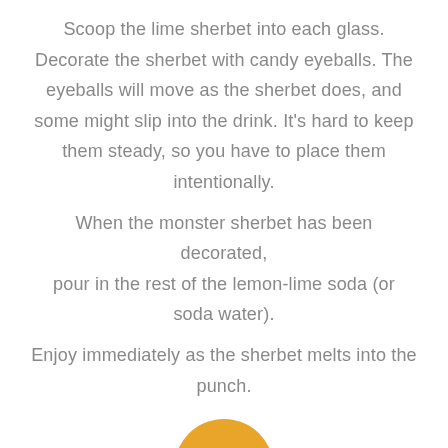Scoop the lime sherbet into each glass. Decorate the sherbet with candy eyeballs. The eyeballs will move as the sherbet does, and some might slip into the drink. It's hard to keep them steady, so you have to place them intentionally. When the monster sherbet has been decorated, pour in the rest of the lemon-lime soda (or soda water). Enjoy immediately as the sherbet melts into the punch.
[Figure (other): A circular badge with amber/golden background containing the number 5 in white italic font, partially cropped at the bottom of the page.]